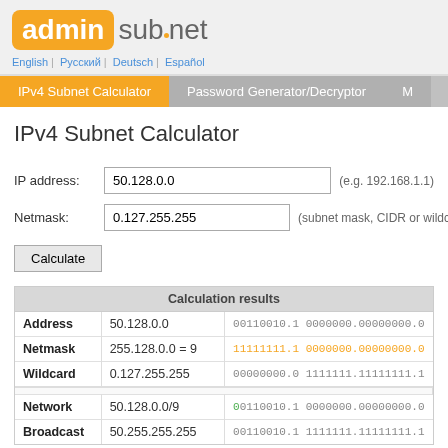admin subnet — English | Русский | Deutsch | Español
IPv4 Subnet Calculator | Password Generator/Decryptor
IPv4 Subnet Calculator
IP address: 50.128.0.0 (e.g. 192.168.1.1)
Netmask: 0.127.255.255 (subnet mask, CIDR or wildcard)
Calculate
|  | Calculation results |  |
| --- | --- | --- |
| Address | 50.128.0.0 | 00110010.1 00000000.00000000.0 |
| Netmask | 255.128.0.0 = 9 | 11111111.1 0000000.00000000.0 |
| Wildcard | 0.127.255.255 | 00000000.0 1111111.11111111.1 |
| Network | 50.128.0.0/9 | 00110010.1 0000000.00000000.0 |
| Broadcast | 50.255.255.255 | 00110010.1 1111111.11111111.1 |